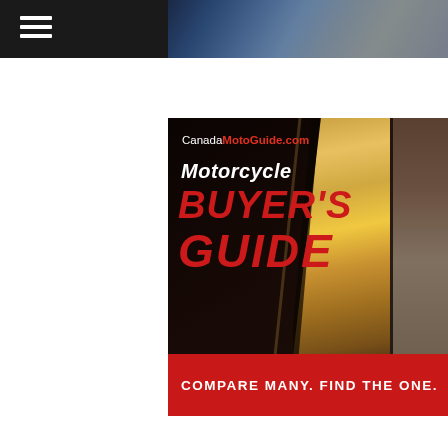[Figure (illustration): Dark navigation bar with hamburger menu icon (three white horizontal lines) on the left, and a partial stylized motorcycle/rider image on the right portion of the bar.]
[Figure (illustration): Advertisement banner for CanadaMotoGuide.com Motorcycle Buyer's Guide. Dark background with text 'Canada' in white and 'MotoGuide.com' in red, 'Motorcycle' in white italic, 'BUYER'S GUIDE' in large red bold italic text. Right side shows stylized motorcycle rider imagery in gold/amber tones. Bottom red banner reads 'COMPARE MANY. FIND THE ONE.' in white bold uppercase text.]